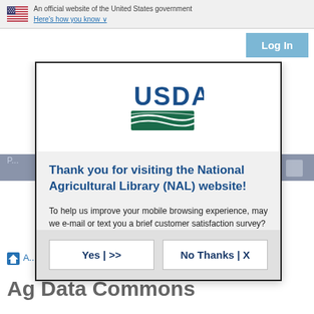An official website of the United States government  Here's how you know
Log In
[Figure (logo): USDA logo with dark teal landscape graphic and USDA text]
Thank you for visiting the National Agricultural Library (NAL) website!
To help us improve your mobile browsing experience, may we e-mail or text you a brief customer satisfaction survey?
Yes | >>
No Thanks | X
/ A... / NP104 / Veterinary Pest Genomics Center
Ag Data Commons